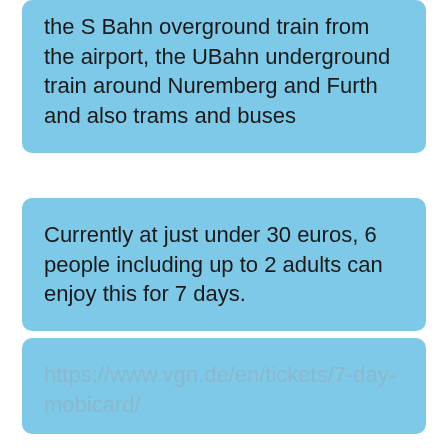the S Bahn overground train from the airport, the UBahn underground train around Nuremberg and Furth and also trams and buses
Currently at just under 30 euros, 6 people including up to 2 adults can enjoy this for 7 days.
https://www.vgn.de/en/tickets/7-day-mobicard/